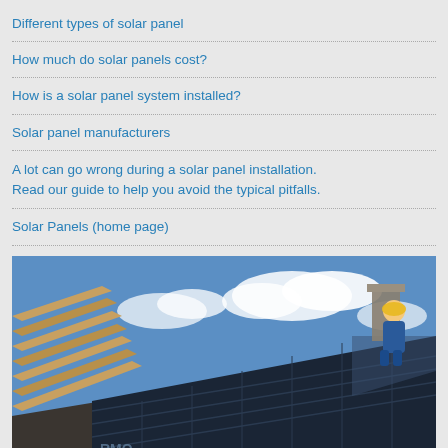Different types of solar panel
How much do solar panels cost?
How is a solar panel system installed?
Solar panel manufacturers
A lot can go wrong during a solar panel installation. Read our guide to help you avoid the typical pitfalls.
Solar Panels (home page)
[Figure (photo): Two workers in blue overalls and hard hats installing solar panels on a wooden roof structure under a blue sky with clouds. Solar panels visible in the foreground.]